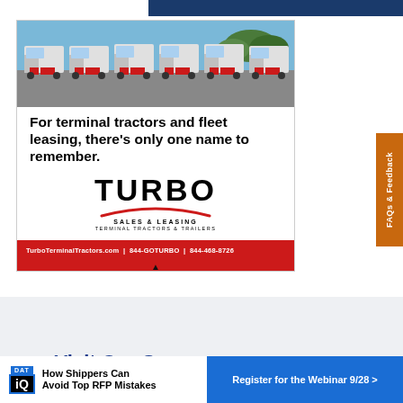[Figure (photo): Row of white terminal tractors/yard trucks parked in a lot with trees in background]
For terminal tractors and fleet leasing, there's only one name to remember.
[Figure (logo): TURBO SALES & LEASING TERMINAL TRACTORS & TRAILERS logo with red arc]
TurboTerminalTractors.com | 844-GOTURBO | 844-468-8726
Visit Our Sponsors
[Figure (logo): DAT iQ logo with text: How Shippers Can Avoid Top RFP Mistakes | Register for the Webinar 9/28 >]